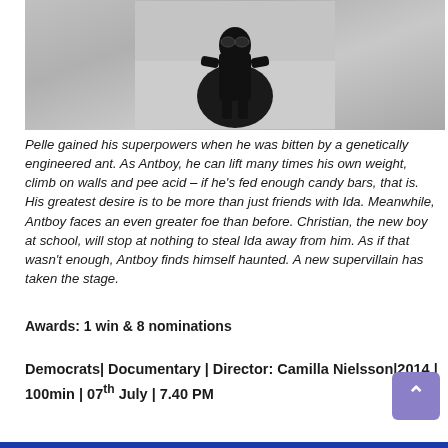[Figure (photo): A person dressed in a black superhero costume with a cape and mask, standing against a light grey/white background.]
Pelle gained his superpowers when he was bitten by a genetically engineered ant. As Antboy, he can lift many times his own weight, climb on walls and pee acid – if he's fed enough candy bars, that is. His greatest desire is to be more than just friends with Ida. Meanwhile, Antboy faces an even greater foe than before. Christian, the new boy at school, will stop at nothing to steal Ida away from him. As if that wasn't enough, Antboy finds himself haunted. A new supervillain has taken the stage.
Awards: 1 win & 8 nominations
Democrats| Documentary | Director: Camilla Nielsson|2014 | 100min | 07th July | 7.40 PM